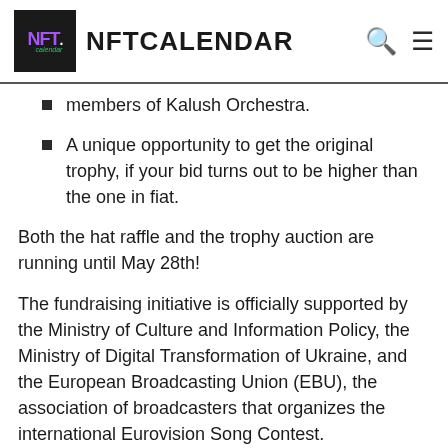NFTCALENDAR
members of Kalush Orchestra.
A unique opportunity to get the original trophy, if your bid turns out to be higher than the one in fiat.
Both the hat raffle and the trophy auction are running until May 28th!
The fundraising initiative is officially supported by the Ministry of Culture and Information Policy, the Ministry of Digital Transformation of Ukraine, and the European Broadcasting Union (EBU), the association of broadcasters that organizes the international Eurovision Song Contest.